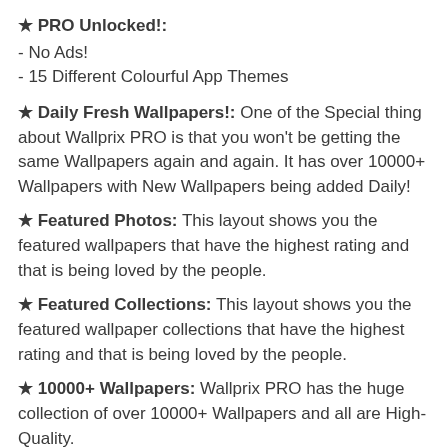★ PRO Unlocked!:
- No Ads!
- 15 Different Colourful App Themes
★ Daily Fresh Wallpapers!: One of the Special thing about Wallprix PRO is that you won't be getting the same Wallpapers again and again. It has over 10000+ Wallpapers with New Wallpapers being added Daily!
★ Featured Photos: This layout shows you the featured wallpapers that have the highest rating and that is being loved by the people.
★ Featured Collections: This layout shows you the featured wallpaper collections that have the highest rating and that is being loved by the people.
★ 10000+ Wallpapers: Wallprix PRO has the huge collection of over 10000+ Wallpapers and all are High-Quality.
★ Lightweight: All the Wallpapers in Wallprix PRO are stored